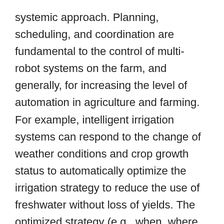systemic approach. Planning, scheduling, and coordination are fundamental to the control of multi-robot systems on the farm, and generally, for increasing the level of automation in agriculture and farming. For example, intelligent irrigation systems can respond to the change of weather conditions and crop growth status to automatically optimize the irrigation strategy to reduce the use of freshwater without loss of yields. The optimized strategy (e.g., when, where, and the amount of water) is then implemented by computer-controlled irrigation equipment.
Artificial intelligence technologies, especially in machine learning, are expected to play a major role in most of the above technology areas and can be